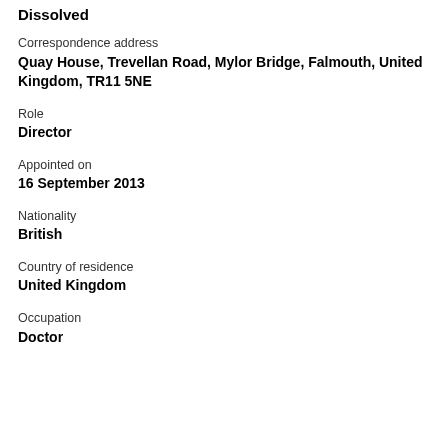Dissolved
Correspondence address
Quay House, Trevellan Road, Mylor Bridge, Falmouth, United Kingdom, TR11 5NE
Role
Director
Appointed on
16 September 2013
Nationality
British
Country of residence
United Kingdom
Occupation
Doctor